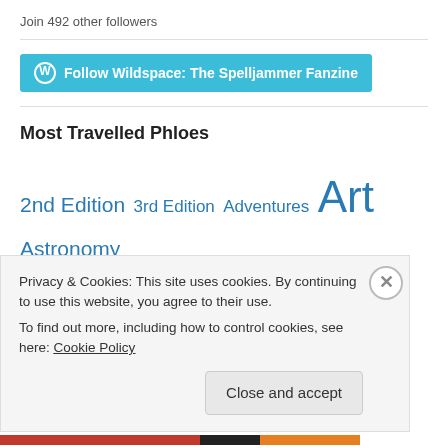Join 492 other followers
Follow Wildspace: The Spelljammer Fanzine
Most Travelled Phloes
2nd Edition  3rd Edition  Adventures  Art  Astronomy  Astrophysics  Campaign Worlds  Characters  Creatures & Monsters
Privacy & Cookies: This site uses cookies. By continuing to use this website, you agree to their use.
To find out more, including how to control cookies, see here: Cookie Policy
Close and accept